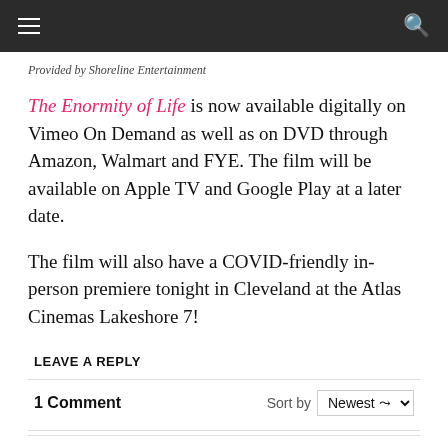Provided by Shoreline Entertainment
The Enormity of Life is now available digitally on Vimeo On Demand as well as on DVD through Amazon, Walmart and FYE. The film will be available on Apple TV and Google Play at a later date.
The film will also have a COVID-friendly in-person premiere tonight in Cleveland at the Atlas Cinemas Lakeshore 7!
LEAVE A REPLY
1 Comment
Sort by Newest